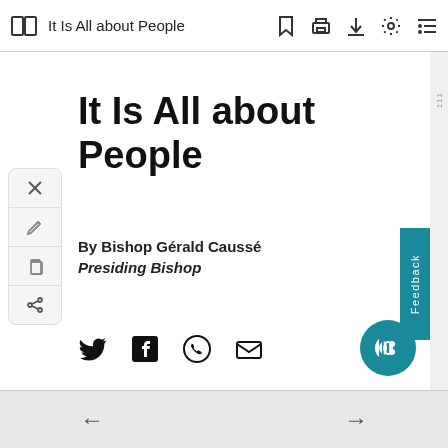It Is All about People
It Is All about People
By Bishop Gérald Caussé
Presiding Bishop
[Figure (other): Social share icons: Twitter, Facebook, WhatsApp, Email]
[Figure (other): Left floating toolbar with close, edit, copy, and share buttons]
[Figure (other): Feedback tab on right side]
[Figure (other): Audio/headphones circular button]
← →